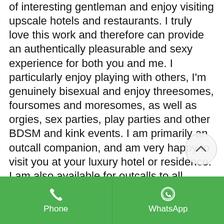of interesting gentleman and enjoy visiting upscale hotels and restaurants. I truly love this work and therefore can provide an authentically pleasurable and sexy experience for both you and me. I particularly enjoy playing with others, I'm genuinely bisexual and enjoy threesomes, foursomes and moresomes, as well as orgies, sex parties, play parties and other BDSM and kink events. I am primarily an outcall companion, and am very happy to visit you at your luxury hotel or residence. I am also available for outcalls to all İstanbul airports, including Heathrow airport, Gatwick airport, Luton airport, Stansted airport, City of İstanbul airport. Super Curvy Escort Women Fabian Elite İstanbul Companion & Curvy Redhead Escort – İstanbul BBW– Submissive and